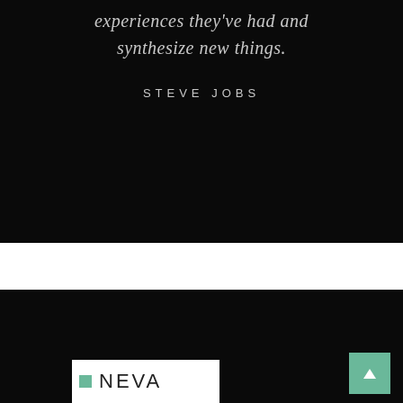experiences they've had and synthesize new things.
STEVE JOBS
[Figure (logo): NEVA logo with green square icon and sans-serif text on white background]